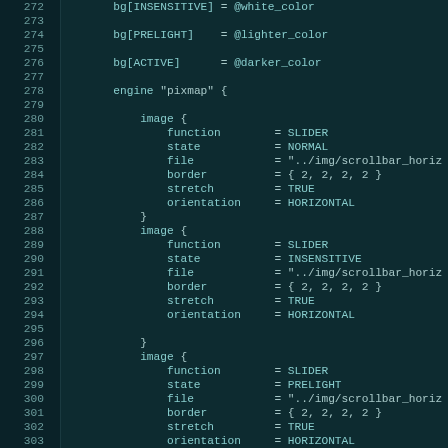[Figure (screenshot): Code editor screenshot showing GTK theme configuration file lines 272-303, dark teal background with monospace text showing image blocks with function=SLIDER, various state settings, file paths, border, stretch, and orientation properties]